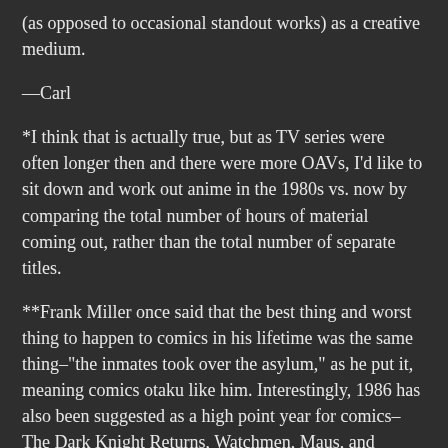(as opposed to occasional standout works) as a creative medium.
—Carl
*I think that is actually true, but as TV series were often longer then and there were more OAVs, I'd like to sit down and work out anime in the 1980s vs. now by comparing the total number of hours of material coming out, rather than the total number of separate titles.
**Frank Miller once said that the best thing and worst thing to happen to comics in his lifetime was the same thing–"the inmates took over the asylum," as he put it, meaning comics otaku like him. Interestingly, 1986 has also been suggested as a high point year for comics–The Dark Knight Returns, Watchmen, Maus, and Daredevil: Born Again all came out that year.